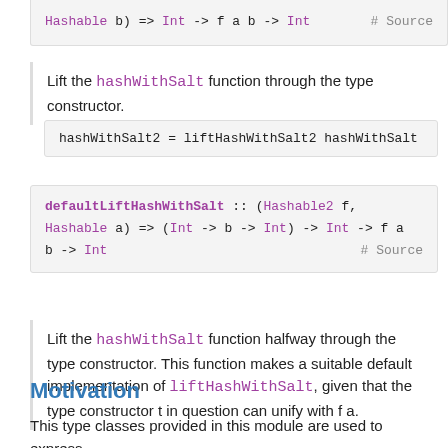Hashable b) => Int -> f a b -> Int  # Source
Lift the hashWithSalt function through the type constructor.
hashWithSalt2 = liftHashWithSalt2 hashWithSalt
defaultLiftHashWithSalt :: (Hashable2 f, Hashable a) => (Int -> b -> Int) -> Int -> f a b -> Int  # Source
Lift the hashWithSalt function halfway through the type constructor. This function makes a suitable default implementation of liftHashWithSalt, given that the type constructor t in question can unify with f a.
Motivation
This type classes provided in this module are used to express